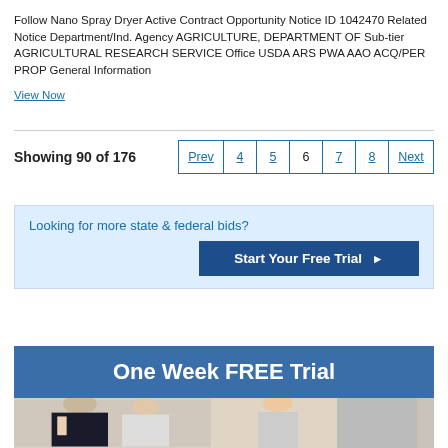Follow Nano Spray Dryer Active Contract Opportunity Notice ID 1042470 Related Notice Department/Ind. Agency AGRICULTURE, DEPARTMENT OF Sub-tier AGRICULTURAL RESEARCH SERVICE Office USDA ARS PWA AAO ACQ/PER PROP General Information
View Now
Showing 90 of 176
Prev 4 5 6 7 8 Next
Looking for more state & federal bids?
Start Your Free Trial ▶
One Week FREE Trial
[Figure (photo): Three people in professional attire, cropped at bottom of page]